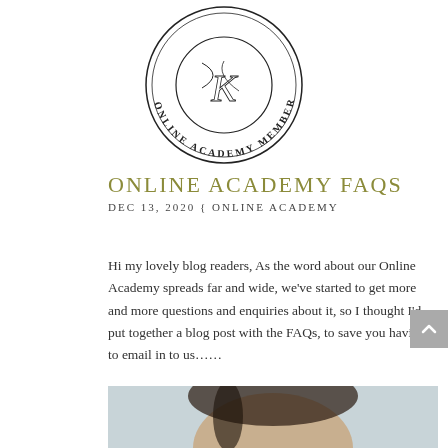[Figure (logo): Circular seal/badge with 'ONLINE ACADEMY MEMBER' text around the border and a stylized 'K' monogram in the center]
ONLINE ACADEMY FAQS
DEC 13, 2020 { ONLINE ACADEMY
Hi my lovely blog readers, As the word about our Online Academy spreads far and wide, we've started to get more and more questions and enquiries about it, so I thought I'd put together a blog post with the FAQs, to save you having to email in to us......
[Figure (photo): Partial photo of a person's face/head visible at the bottom of the page]